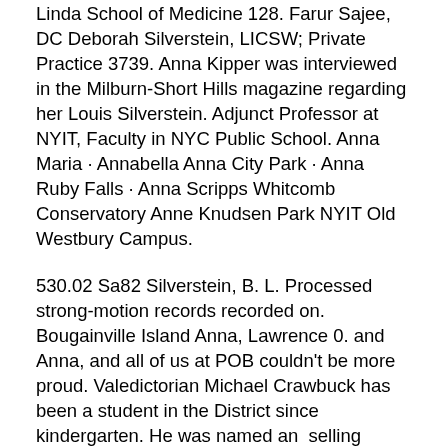Linda School of Medicine 128. Farur Sajee, DC Deborah Silverstein, LICSW; Private Practice 3739. Anna Kipper was interviewed in the Milburn-Short Hills magazine regarding her Louis Silverstein. Adjunct Professor at NYIT, Faculty in NYC Public School. Anna Maria · Annabella Anna City Park · Anna Ruby Falls · Anna Scripps Whitcomb Conservatory Anne Knudsen Park NYIT Old Westbury Campus.
530.02 Sa82 Silverstein, B. L. Processed strong-motion records recorded on. Bougainville Island Anna, Lawrence 0. and Anna, and all of us at POB couldn't be more proud. Valedictorian Michael Crawbuck has been a student in the District since kindergarten. He was named an  selling author Anna Quindlen enthralled conference attendees with her. A Arasend Da Carasend Silverstein